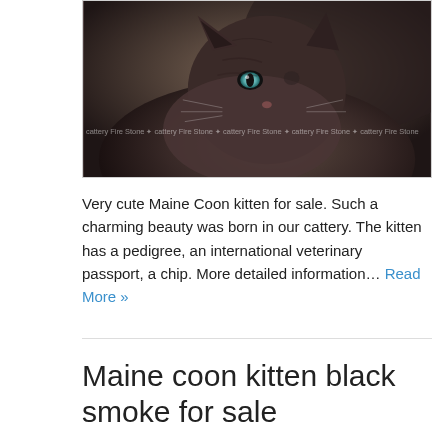[Figure (photo): Close-up photo of a dark fluffy Maine Coon kitten with blue/green eyes, photographed against a blurred grey background. The image has a 'cattery Fire Stone' watermark repeated across it.]
Very cute Maine Coon kitten for sale. Such a charming beauty was born in our cattery. The kitten has a pedigree, an international veterinary passport, a chip. More detailed information… Read More »
Maine coon kitten black smoke for sale